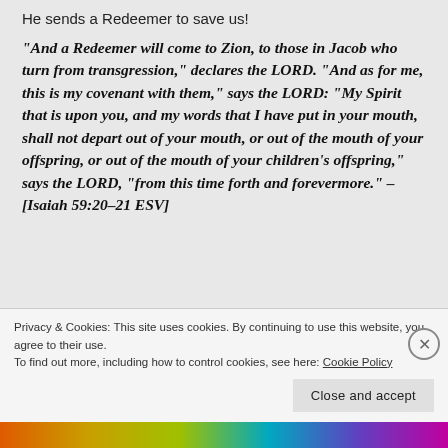He sends a Redeemer to save us!
“And a Redeemer will come to Zion, to those in Jacob who turn from transgression,” declares the LORD. “And as for me, this is my covenant with them,” says the LORD: “My Spirit that is upon you, and my words that I have put in your mouth, shall not depart out of your mouth, or out of the mouth of your offspring, or out of the mouth of your children’s offspring,” says the LORD, “from this time forth and forevermore.” – [Isaiah 59:20–21 ESV]
Privacy & Cookies: This site uses cookies. By continuing to use this website, you agree to their use.
To find out more, including how to control cookies, see here: Cookie Policy
Close and accept